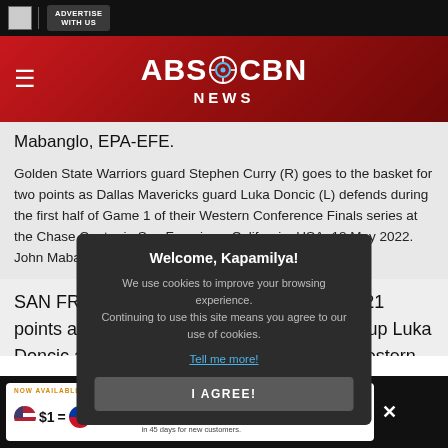ADVERTISE WITH US
[Figure (logo): ABS-CBN NEWS logo on red gradient background with hamburger menu]
Mabanglo, EPA-EFE.
Golden State Warriors guard Stephen Curry (R) goes to the basket for two points as Dallas Mavericks guard Luka Doncic (L) defends during the first half of Game 1 of their Western Conference Finals series at the Chase Center in San Francisco, California, USA, 18 May 2022. John Mabanglo, EPA-EFE.
SAN FRAN... ry scored 21 points a... lled up Luka Doncic and... r Western Conference... Wednesday.
Three days... enix Suns ...
[Figure (infographic): Cookie consent modal: Welcome, Kapamilya! We use cookies to improve your browsing experience. Continuing to use this site means you agree to our use of cookies. Tell me more! I AGREE! button]
[Figure (infographic): Advertisement banner: NOW AVAILABLE FOR A LIMITED TIME $1 = P60 Applies to first $500 spent in 45 days for new customers. Pomelo logo.]